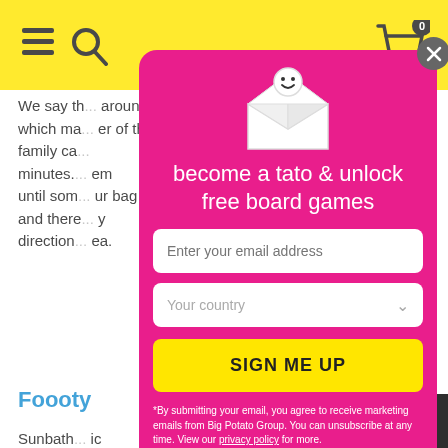[Figure (screenshot): Website page background showing yellow navigation header with hamburger menu, search icon, shopping cart with 0 items, and partial body text about board games. A section heading 'Foooty' in blue is visible. Below reads 'Sunbath...' and 'football...' Text partially obscured by modal overlay.]
[Figure (illustration): Pink modal popup dialog with envelope mascot character (white envelope with smiley face peeking out) at the top.]
become a tato & unlock free board games
Enter your email address
Your country
SIGN ME UP
*By submitting your email, you agree to receive marketing emails from Big Potato Group. You can unsubscribe at any time. View our privacy policy for more.